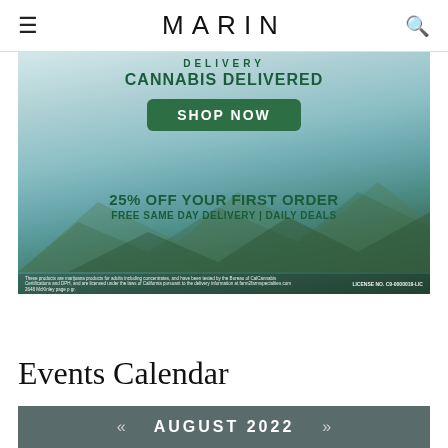MARIN
[Figure (illustration): Cannabis delivery advertisement banner with mountain background. Text reads: DELIVERY / CANNABIS DELIVERED / SHOP NOW (green button) / 25% OFF YOUR FIRST ORDER / FREE SAME DAY DELIVERY | DAILY DEALS. Fine print and LICENSE NO. C9-0000019-LIC at bottom.]
Events Calendar
« AUGUST 2022 »